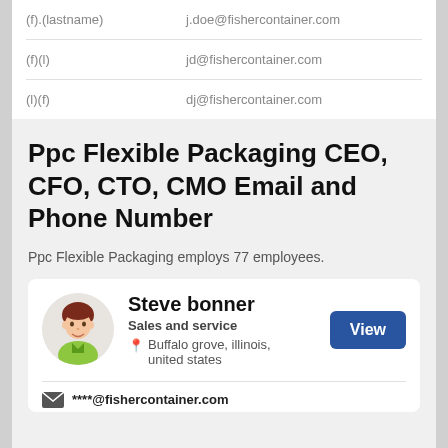| Format | Example |
| --- | --- |
| (f).(lastname) | j.doe@fishercontainer.com |
| (f)(l) | jd@fishercontainer.com |
| (l)(f) | dj@fishercontainer.com |
Ppc Flexible Packaging CEO, CFO, CTO, CMO Email and Phone Number
Ppc Flexible Packaging employs 77 employees.
[Figure (illustration): Contact card for Steve bonner, Sales and service, Buffalo grove, illinois, united states, with avatar illustration and View button]
****@fishercontainer.com